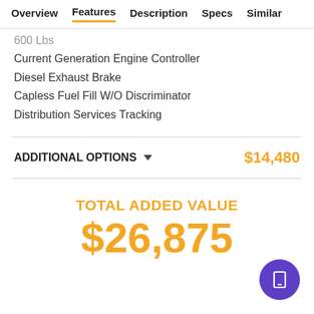Overview  Features  Description  Specs  Similar
600 Lbs
Current Generation Engine Controller
Diesel Exhaust Brake
Capless Fuel Fill W/O Discriminator
Distribution Services Tracking
ADDITIONAL OPTIONS  $14,480
TOTAL ADDED VALUE
$26,875